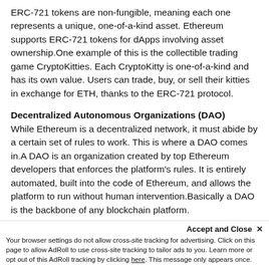ERC-721 tokens are non-fungible, meaning each one represents a unique, one-of-a-kind asset. Ethereum supports ERC-721 tokens for dApps involving asset ownership.One example of this is the collectible trading game CryptoKitties. Each CryptoKitty is one-of-a-kind and has its own value. Users can trade, buy, or sell their kitties in exchange for ETH, thanks to the ERC-721 protocol.
Decentralized Autonomous Organizations (DAO)
While Ethereum is a decentralized network, it must abide by a certain set of rules to work. This is where a DAO comes in.A DAO is an organization created by top Ethereum developers that enforces the platform's rules. It is entirely automated, built into the code of Ethereum, and allows the platform to run without human intervention.Basically a DAO is the backbone of any blockchain platform.
Initial Coin Offering
Ethereum tokens are enforced by the ERC-20 technical standard. Any token classified as ERC-20 is one
Accept and Close ×
Your browser settings do not allow cross-site tracking for advertising. Click on this page to allow AdRoll to use cross-site tracking to tailor ads to you. Learn more or opt out of this AdRoll tracking by clicking here. This message only appears once.